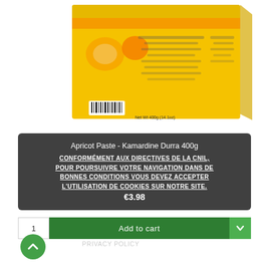[Figure (photo): Product photo of an apricot paste box (Kamardine Durra 400g) with yellow packaging, fruits visible, barcode at bottom, Arabic and English text.]
Apricot Paste - Kamardine Durra 400g
CONFORMÉMENT AUX DIRECTIVES DE LA CNIL, POUR POURSUIVRE VOTRE NAVIGATION DANS DE BONNES CONDITIONS VOUS DEVEZ ACCEPTER L'UTILISATION DE COOKIES SUR NOTRE SITE.
€3.98
Add to cart
PRIVACY POLICY
ACCEPT